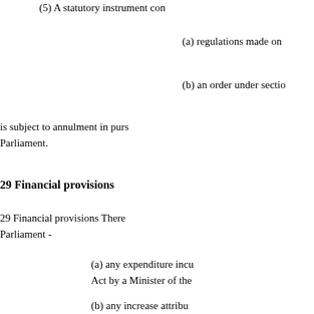(5) A statutory instrument con
(a) regulations made on
(b) an order under sectio
is subject to annulment in purs Parliament.
29 Financial provisions
29 Financial provisions There Parliament -
(a) any expenditure incu Act by a Minister of the
(b) any increase attribu payable under any other
30 Extent
(1) Except as provided by subs Act extend to England and Wa
(2) Section 11 extends to Scot